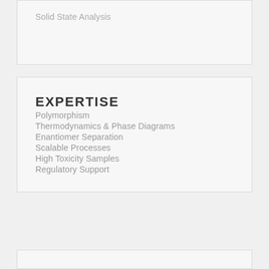Solid State Analysis
EXPERTISE
Polymorphism
Thermodynamics & Phase Diagrams
Enantiomer Separation
Scalable Processes
High Toxicity Samples
Regulatory Support